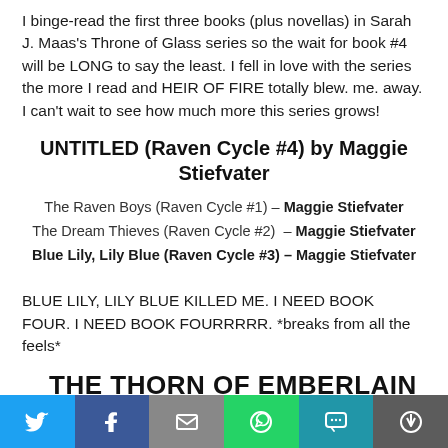I binge-read the first three books (plus novellas) in Sarah J. Maas's Throne of Glass series so the wait for book #4 will be LONG to say the least. I fell in love with the series the more I read and HEIR OF FIRE totally blew. me. away. I can't wait to see how much more this series grows!
UNTITLED (Raven Cycle #4) by Maggie Stiefvater
The Raven Boys (Raven Cycle #1) – Maggie Stiefvater
The Dream Thieves (Raven Cycle #2) – Maggie Stiefvater
Blue Lily, Lily Blue (Raven Cycle #3) – Maggie Stiefvater
BLUE LILY, LILY BLUE KILLED ME. I NEED BOOK FOUR. I NEED BOOK FOURRRRR. *breaks from all the feels*
THE THORN OF EMBERLAIN